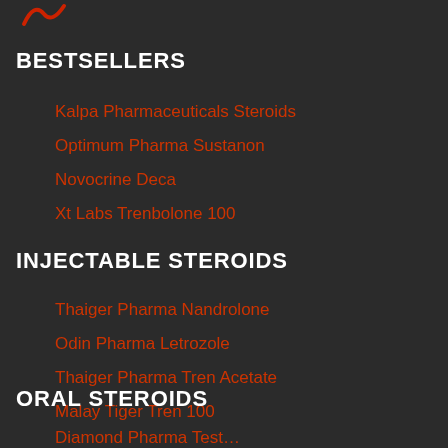[Figure (logo): Red logo mark in top left corner]
BESTSELLERS
Kalpa Pharmaceuticals Steroids
Optimum Pharma Sustanon
Novocrine Deca
Xt Labs Trenbolone 100
INJECTABLE STEROIDS
Thaiger Pharma Nandrolone
Odin Pharma Letrozole
Thaiger Pharma Tren Acetate
Malay Tiger Tren 100
ORAL STEROIDS
Diamond Pharma Test...